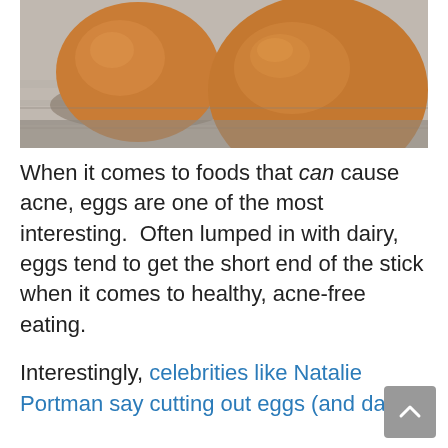[Figure (photo): Two brown eggs resting on a gray textured surface, photographed from slightly above, warm tones]
When it comes to foods that can cause acne, eggs are one of the most interesting.  Often lumped in with dairy, eggs tend to get the short end of the stick when it comes to healthy, acne-free eating.
Interestingly, celebrities like Natalie Portman say cutting out eggs (and dairy)